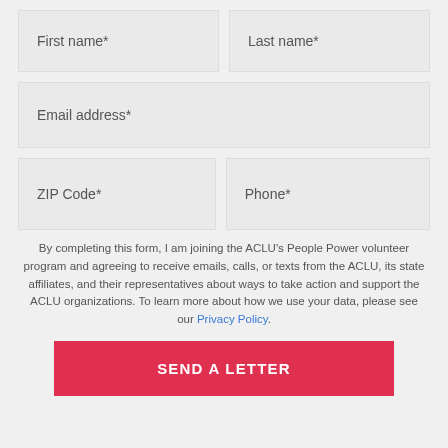First name*
Last name*
Email address*
ZIP Code*
Phone*
By completing this form, I am joining the ACLU's People Power volunteer program and agreeing to receive emails, calls, or texts from the ACLU, its state affiliates, and their representatives about ways to take action and support the ACLU organizations. To learn more about how we use your data, please see our Privacy Policy.
SEND A LETTER